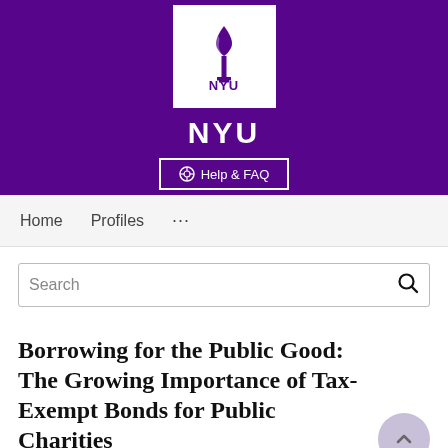[Figure (logo): NYU (New York University) logo on purple banner background with torch icon in white box and NYU text below, plus Help & FAQ button]
Home   Profiles   ...
Search
Borrowing for the Public Good: The Growing Importance of Tax-Exempt Bonds for Public Charities
Thad D. Calabrese, Todd L. Ely